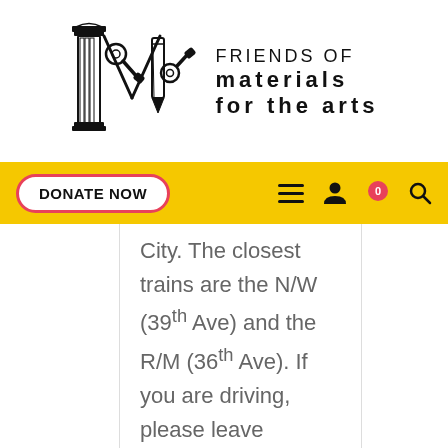[Figure (logo): Friends of Materials for the Arts logo — stylized letter M with tools (wrench, pencil) and a column, alongside text 'FRIENDS OF materials for the arts']
DONATE NOW navigation bar with hamburger menu, person icon, cart (0), and search icon
City. The closest trains are the N/W (39th Ave) and the R/M (36th Ave). If you are driving, please leave AMPLE time
Directions: